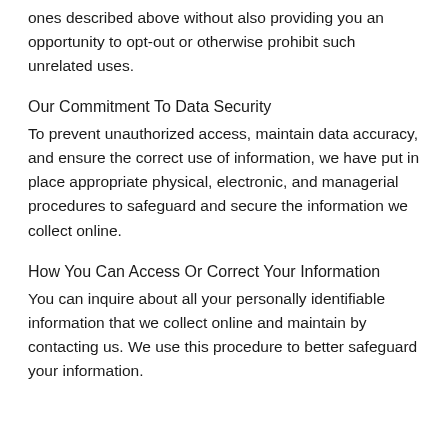ones described above without also providing you an opportunity to opt-out or otherwise prohibit such unrelated uses.
Our Commitment To Data Security
To prevent unauthorized access, maintain data accuracy, and ensure the correct use of information, we have put in place appropriate physical, electronic, and managerial procedures to safeguard and secure the information we collect online.
How You Can Access Or Correct Your Information
You can inquire about all your personally identifiable information that we collect online and maintain by contacting us. We use this procedure to better safeguard your information.